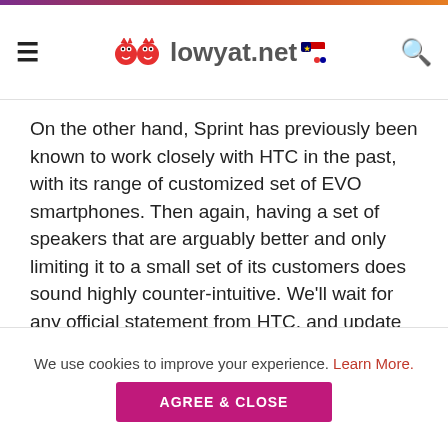lowyat.net
On the other hand, Sprint has previously been known to work closely with HTC in the past, with its range of customized set of EVO smartphones. Then again, having a set of speakers that are arguably better and only limiting it to a small set of its customers does sound highly counter-intuitive. We'll wait for any official statement from HTC, and update the post when there is one.
(Source: XDA via @evleaks (Twitter))
Follow us on Instagram, Facebook, Twitter or
We use cookies to improve your experience. Learn More.
AGREE & CLOSE